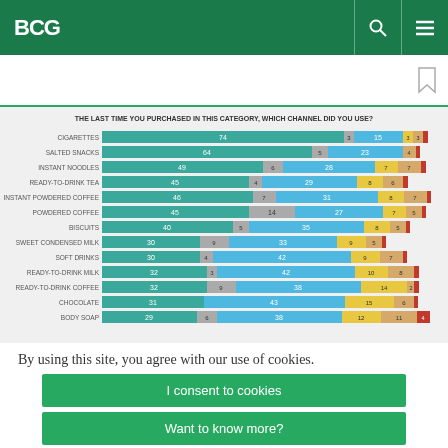BCG
[Figure (stacked-bar-chart): THE LAST TIME YOU PURCHASED IN THIS CATEGORY, WHICH CHANNEL DID YOU USE?]
By using this site, you agree with our use of cookies.
I consent to cookies
Want to know more?
Read our Cookie Policy